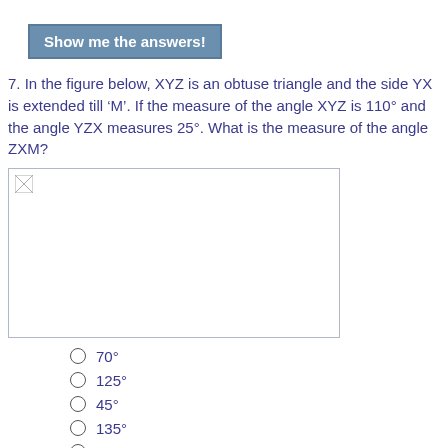Show me the answers!
7. In the figure below, XYZ is an obtuse triangle and the side YX is extended till ‘M’. If the measure of the angle XYZ is 110° and the angle YZX measures 25°. What is the measure of the angle ZXM?
[Figure (illustration): Rectangle box representing a figure/diagram area for the triangle geometry problem]
70°
125°
45°
135°
110°